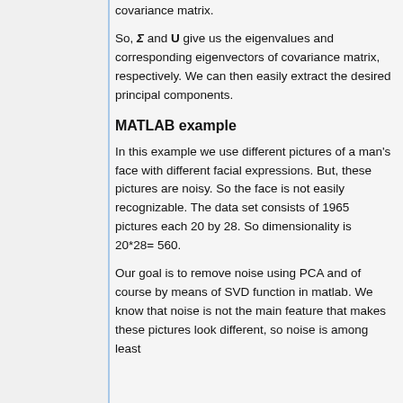covariance matrix.
So, Σ and U give us the eigenvalues and corresponding eigenvectors of covariance matrix, respectively. We can then easily extract the desired principal components.
MATLAB example
In this example we use different pictures of a man's face with different facial expressions. But, these pictures are noisy. So the face is not easily recognizable. The data set consists of 1965 pictures each 20 by 28. So dimensionality is 20*28= 560.
Our goal is to remove noise using PCA and of course by means of SVD function in matlab. We know that noise is not the main feature that makes these pictures look different, so noise is among least